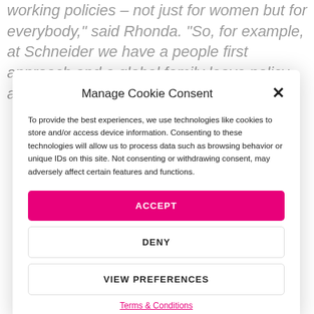working policies – not just for women but for everybody," said Rhonda. "So, for example, at Schneider we have a people first approach and a global family leave policy and that's for women and...
Manage Cookie Consent
To provide the best experiences, we use technologies like cookies to store and/or access device information. Consenting to these technologies will allow us to process data such as browsing behavior or unique IDs on this site. Not consenting or withdrawing consent, may adversely affect certain features and functions.
ACCEPT
DENY
VIEW PREFERENCES
Terms & Conditions